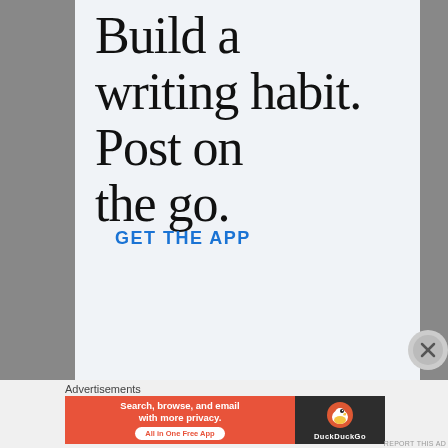[Figure (infographic): App advertisement with large serif text reading 'Build a writing habit. Post on the go.' and a blue 'GET THE APP' call-to-action link on a light blue-gray background]
Advertisements
[Figure (infographic): DuckDuckGo advertisement banner: orange left section with text 'Search, browse, and email with more privacy. All in One Free App', dark right section with DuckDuckGo duck logo and brand name]